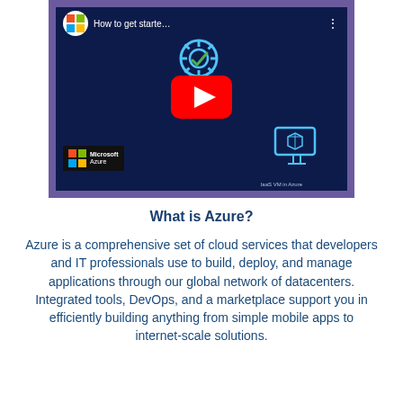[Figure (screenshot): YouTube video thumbnail showing a Microsoft Azure introductory video titled 'How to get starte...' with Microsoft logo, YouTube play button, and Azure IaaS VM diagram on a dark blue background with purple border.]
What is Azure?
Azure is a comprehensive set of cloud services that developers and IT professionals use to build, deploy, and manage applications through our global network of datacenters. Integrated tools, DevOps, and a marketplace support you in efficiently building anything from simple mobile apps to internet-scale solutions.